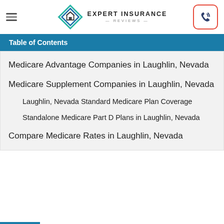Expert Insurance Reviews
Table of Contents
Medicare Advantage Companies in Laughlin, Nevada
Medicare Supplement Companies in Laughlin, Nevada
Laughlin, Nevada Standard Medicare Plan Coverage
Standalone Medicare Part D Plans in Laughlin, Nevada
Compare Medicare Rates in Laughlin, Nevada